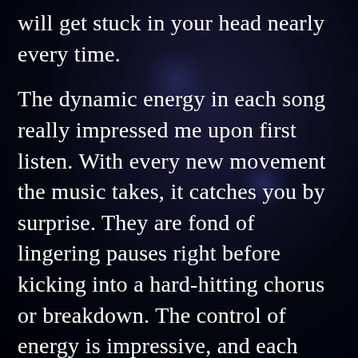will get stuck in your head nearly every time.
The dynamic energy in each song really impressed me upon first listen. With every new movement the music takes, it catches you by surprise. They are fond of lingering pauses right before kicking into a hard-hitting chorus or breakdown. The control of energy is impressive, and each song is a journey from start to finish. It's easy for Indie/rock to become a little one-note or repetitive. Not Amateur. As soon as the instruments cut out for a slower moment, they bring this anticipation and build that puts you on the edge of your